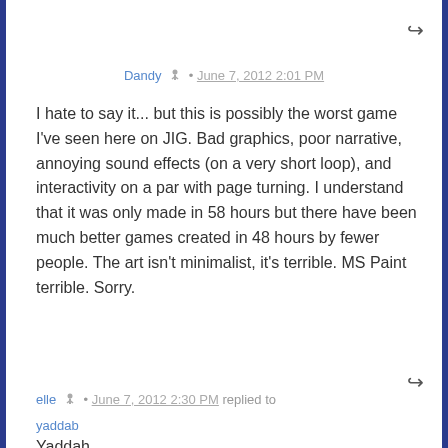Dandy • June 7, 2012 2:01 PM
I hate to say it... but this is possibly the worst game I've seen here on JIG. Bad graphics, poor narrative, annoying sound effects (on a very short loop), and interactivity on a par with page turning. I understand that it was only made in 58 hours but there have been much better games created in 48 hours by fewer people. The art isn't minimalist, it's terrible. MS Paint terrible. Sorry.
elle • June 7, 2012 2:30 PM replied to yaddab
Yaddah